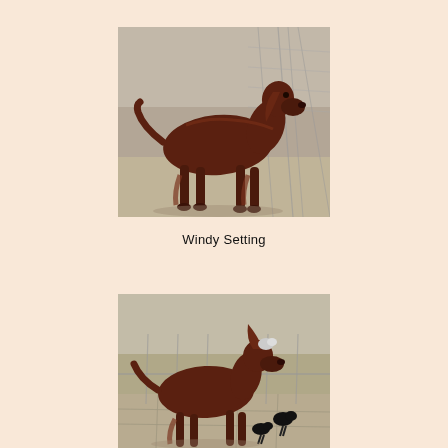[Figure (photo): An Irish Setter dog standing in profile view on a paved surface next to a chain-link fence, photographed outdoors in sunlight.]
Windy Setting
[Figure (photo): An Irish Setter dog standing near a chain-link fence with several black birds (crows or ravens) on the ground nearby, photographed outdoors.]